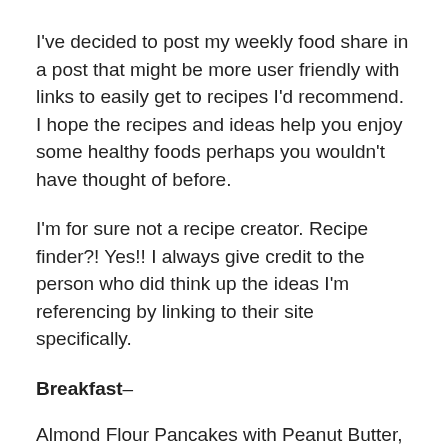I've decided to post my weekly food share in a post that might be more user friendly with links to easily get to recipes I'd recommend. I hope the recipes and ideas help you enjoy some healthy foods perhaps you wouldn't have thought of before.
I'm for sure not a recipe creator. Recipe finder?! Yes!! I always give credit to the person who did think up the ideas I'm referencing by linking to their site specifically.
Breakfast–
Almond Flour Pancakes with Peanut Butter, Cinnamon and Strawberries
Ok, maybe recipe modifier works, too. I've combined so many recipes to make this version, I can call it my own. A snow delay called for pancakes this morning!